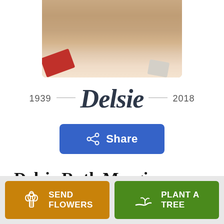[Figure (photo): Cropped photo showing the lower face/neck and upper torso of a person, partially cut off at the top]
1939 — Delsie — 2018
[Figure (other): Blue Share button with share icon]
Delsie Ruth Margison
June 20, 1939 — January 13, 2018
[Figure (other): Orange 'Send Flowers' button with flower bouquet icon]
[Figure (other): Green 'Plant a Tree' button with seedling icon]